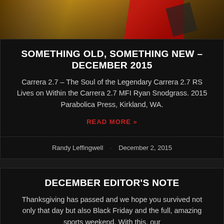[Figure (photo): Top portion of an article card showing a sandy/brown background with a partial image, appearing to be a book or product shot with red and black elements.]
SOMETHING OLD, SOMETHING NEW – DECEMBER 2015
Carrera 2.7 – The Soul of the Legendary Carrera 2.7 RS Lives on Within the Carrera 2.7 MFI Ryan Snodgrass. 2015 Parabolica Press, Kirkland, WA.
READ MORE »
Randy Leffingwell · December 2, 2015
DECEMBER EDITOR'S NOTE
Thanksgiving has passed and we hope you survived not only that day but also Black Friday and the full, amazing sports weekend. With this, our
READ MORE »